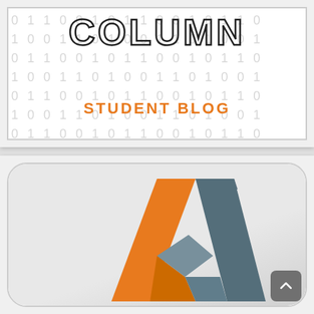[Figure (logo): The Column Student Blog logo: large outlined letters 'COLUMN' over a binary digits (0s and 1s) patterned background, with 'STUDENT BLOG' in orange text below]
[Figure (logo): AutoCAD app icon: a rounded-rectangle app icon with a light gray gradient background showing an orange and steel-blue/gray geometric A-shape logo made of angled 3D ribbon shapes]